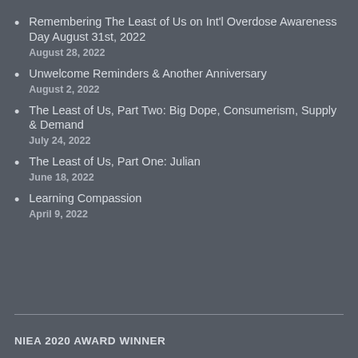Remembering The Least of Us on Int'l Overdose Awareness Day August 31st, 2022
August 28, 2022
Unwelcome Reminders & Another Anniversary
August 2, 2022
The Least of Us, Part Two: Big Dope, Consumerism, Supply & Demand
July 24, 2022
The Least of Us, Part One: Julian
June 18, 2022
Learning Compassion
April 9, 2022
NIEA 2020 AWARD WINNER